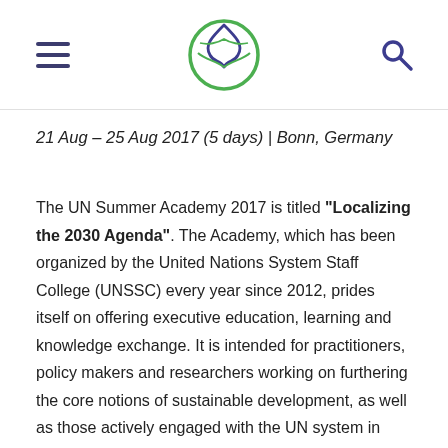[hamburger menu] [UNSSC logo] [search icon]
21 Aug – 25 Aug 2017 (5 days) | Bonn, Germany
The UN Summer Academy 2017 is titled "Localizing the 2030 Agenda". The Academy, which has been organized by the United Nations System Staff College (UNSSC) every year since 2012, prides itself on offering executive education, learning and knowledge exchange. It is intended for practitioners, policy makers and researchers working on furthering the core notions of sustainable development, as well as those actively engaged with the UN system in their daily lives. The 2017 edition of the Summer Academy will focus on ways to implement the 2030 Agenda at national, regional and local level, examining the particular role of cities and local authorities in the process. Participants will have ample opportunities to listen to renowned speakers, engage